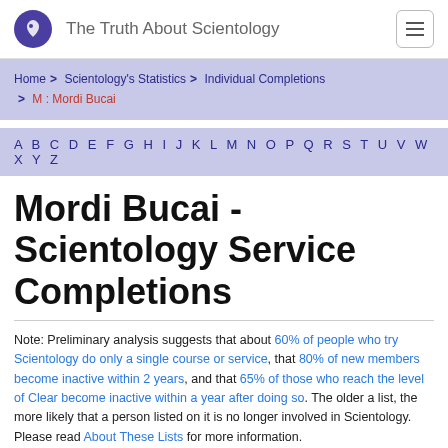The Truth About Scientology
Home > Scientology's Statistics > Individual Completions > M : Mordi Bucai
A B C D E F G H I J K L M N O P Q R S T U V W X Y Z
Mordi Bucai - Scientology Service Completions
Note: Preliminary analysis suggests that about 60% of people who try Scientology do only a single course or service, that 80% of new members become inactive within 2 years, and that 65% of those who reach the level of Clear become inactive within a year after doing so. The older a list, the more likely that a person listed on it is no longer involved in Scientology.
Please read About These Lists for more information.